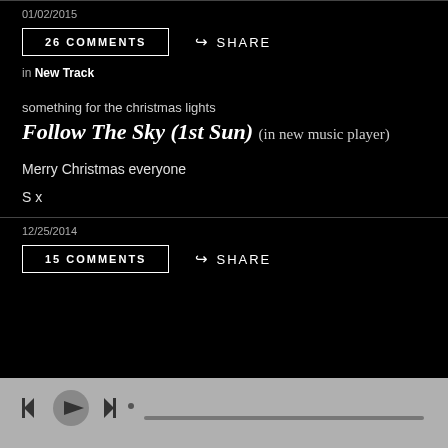01/02/2015
26 COMMENTS
SHARE
in New Track
something for the christmas lights
Follow The Sky (1st Sun) (in new music player)
Merry Christmas everyone
S x
12/25/2014
15 COMMENTS
SHARE
[Figure (other): Music player controls bar at bottom: skip-back, play, skip-forward buttons and progress bar on grey background]